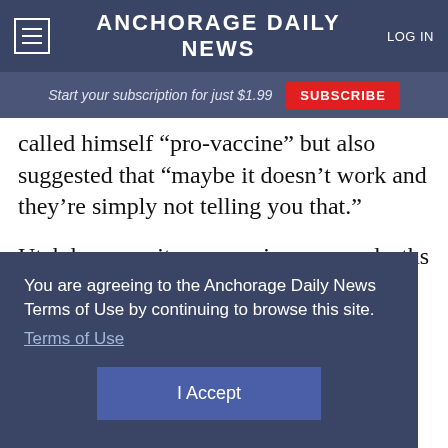Anchorage Daily News — Navigation bar with hamburger menu and LOG IN
Start your subscription for just $1.99  SUBSCRIBE
called himself “pro-vaccine” but also suggested that “maybe it doesn’t work and they’re simply not telling you that.”
Utah has seen its coronavirus cases, deaths and hospitalizations drop significantly with vaccination
You are agreeing to the Anchorage Daily News Terms of Use by continuing to browse this site.
Terms of Use
I Accept